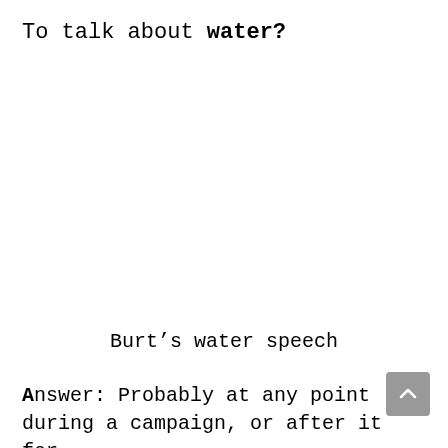To talk about water?
Burt's water speech
Answer: Probably at any point during a campaign, or after it for